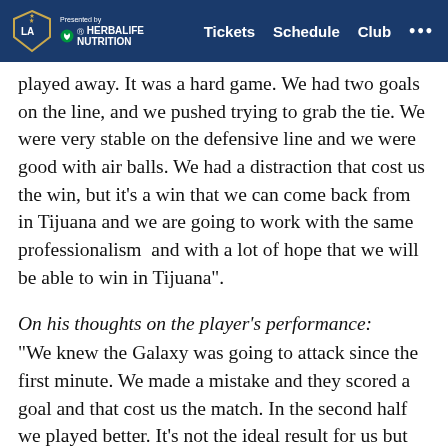LA Galaxy — Presented by Herbalife Nutrition | Tickets  Schedule  Club  ...
played away. It was a hard game. We had two goals on the line, and we pushed trying to grab the tie. We were very stable on the defensive line and we were good with air balls. We had a distraction that cost us the win, but it's a win that we can come back from in Tijuana and we are going to work with the same professionalism  and with a lot of hope that we will be able to win in Tijuana".
On his thoughts on the player's performance:
“We knew the Galaxy was going to attack since the first minute. We made a mistake and they scored a goal and that cost us the match. In the second half we played better. It’s not the ideal result for us but we can win at home.”